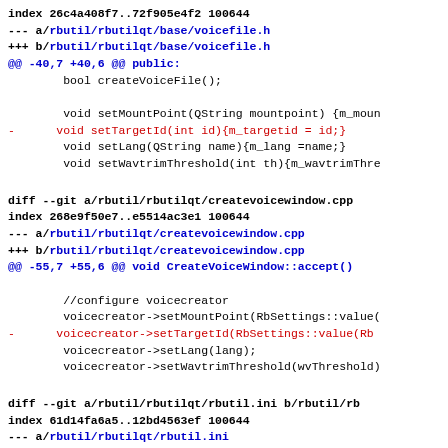index 26c4a408f7..72f905e4f2 100644
--- a/rbutil/rbutilqt/base/voicefile.h
+++ b/rbutil/rbutilqt/base/voicefile.h
@@ -40,7 +40,6 @@ public:
        bool createVoiceFile();

        void setMountPoint(QString mountpoint) {m_moun
-      void setTargetId(int id){m_targetid = id;}
        void setLang(QString name){m_lang =name;}
        void setWavtrimThreshold(int th){m_wavtrimThre
diff --git a/rbutil/rbutilqt/createvoicewindow.cpp
index 268e9f50e7..e5514ac3e1 100644
--- a/rbutil/rbutilqt/createvoicewindow.cpp
+++ b/rbutil/rbutilqt/createvoicewindow.cpp
@@ -55,7 +55,6 @@ void CreateVoiceWindow::accept()

        //configure voicecreator
        voicecreator->setMountPoint(RbSettings::value(
-      voicecreator->setTargetId(RbSettings::value(Rb
        voicecreator->setLang(lang);
        voicecreator->setWavtrimThreshold(wvThreshold)
diff --git a/rbutil/rbutilqt/rbutil.ini b/rbutil/rb
index 61d14fa6a5..12bd4563ef 100644
--- a/rbutil/rbutilqt/rbutil.ini
+++ b/rbutil/rbutilqt/rbutil.ini
@@ -66,7 +66,6 @@ bootloadername=